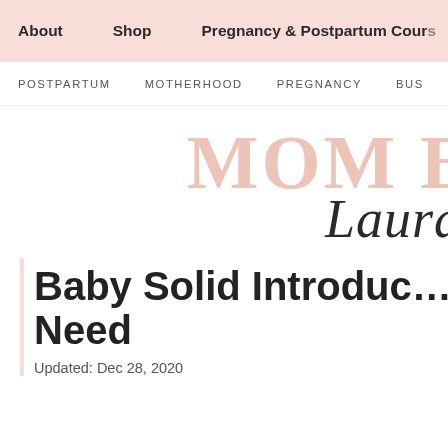About   Shop   Pregnancy & Postpartum Cours…
POSTPARTUM   MOTHERHOOD   PREGNANCY   BUS…
[Figure (logo): MOM B… Laura… blog logo in pink serif and black script lettering]
Baby Solid Introduc… Need
Updated: Dec 28, 2020